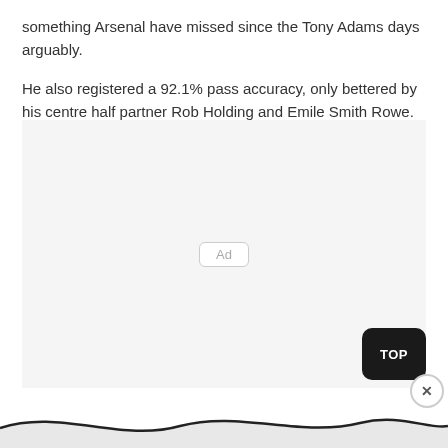something Arsenal have missed since the Tony Adams days arguably.
He also registered a 92.1% pass accuracy, only bettered by his centre half partner Rob Holding and Emile Smith Rowe.
[Figure (other): Advertisement placeholder box with 'Ad' label centered, followed by a TOP button and close (X) button, with a wavy line at the bottom of the page.]